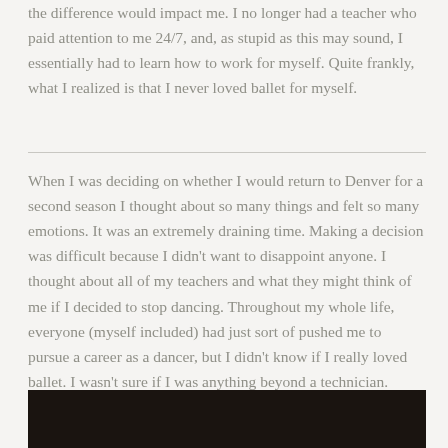the difference would impact me. I no longer had a teacher who paid attention to me 24/7, and, as stupid as this may sound, I essentially had to learn how to work for myself. Quite frankly, what I realized is that I never loved ballet for myself.
When I was deciding on whether I would return to Denver for a second season I thought about so many things and felt so many emotions. It was an extremely draining time. Making a decision was difficult because I didn't want to disappoint anyone. I thought about all of my teachers and what they might think of me if I decided to stop dancing. Throughout my whole life, everyone (myself included) had just sort of pushed me to pursue a career as a dancer, but I didn't know if I really loved ballet. I wasn't sure if I was anything beyond a technician.
[Figure (photo): Dark photograph, bottom portion of page, appears to show a dark/dimly lit scene]